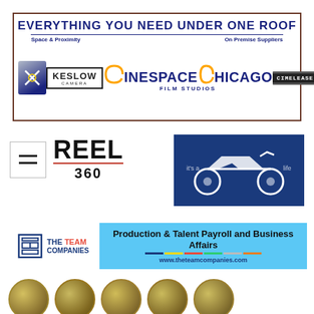[Figure (logo): Cinespace Chicago Film Studios banner with sponsors: All Tech, Keslow Camera, Cinespace Chicago Film Studios, CimeLease. Text: EVERYTHING YOU NEED UNDER ONE ROOF, Space & Proximity, On Premise Suppliers.]
[Figure (logo): REEL 360 logo with hamburger menu icon on left]
[Figure (logo): Blue banner with motorcycle silhouette graphic]
[Figure (logo): The Team Companies banner: Production & Talent Payroll and Business Affairs, www.theteamcompanies.com]
[Figure (photo): Row of gold/bronze coin-like circular emblems at bottom of page, partially visible]